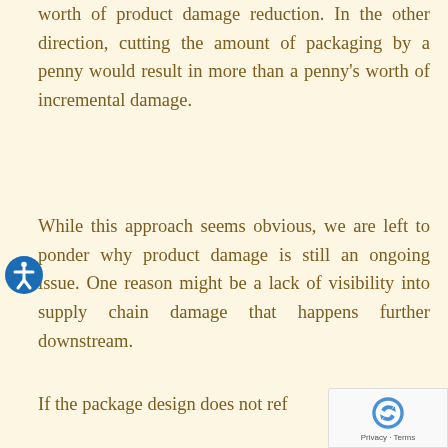worth of product damage reduction. In the other direction, cutting the amount of packaging by a penny would result in more than a penny's worth of incremental damage.
While this approach seems obvious, we are left to ponder why product damage is still an ongoing issue. One reason might be a lack of visibility into supply chain damage that happens further downstream.
If the package design does not ref...